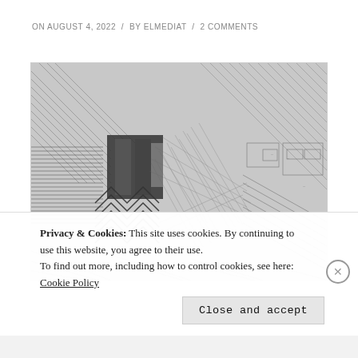ON AUGUST 4, 2022 / BY ELMEDIAT / 2 COMMENTS
[Figure (map): Black and white aerial or cadastral map showing urban parcels, streets, and building footprints with hatching patterns.]
Privacy & Cookies: This site uses cookies. By continuing to use this website, you agree to their use.
To find out more, including how to control cookies, see here: Cookie Policy
Close and accept